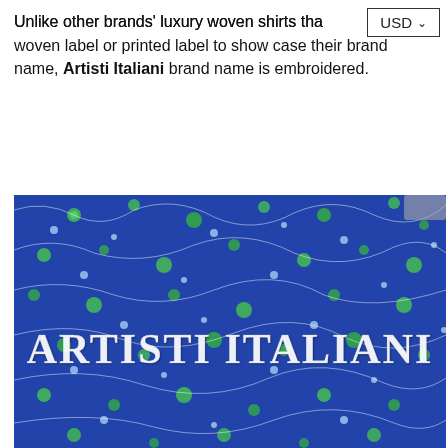Unlike other brands' luxury woven shirts that use a woven label or printed label to show case their brand name, Artisti Italiani brand name is embroidered.
[Figure (photo): Close-up photo of a blue floral patterned fabric with white and green flower/vine designs, with the brand name 'ARTISTI ITALIANI' embroidered in white letters across the center of the fabric.]